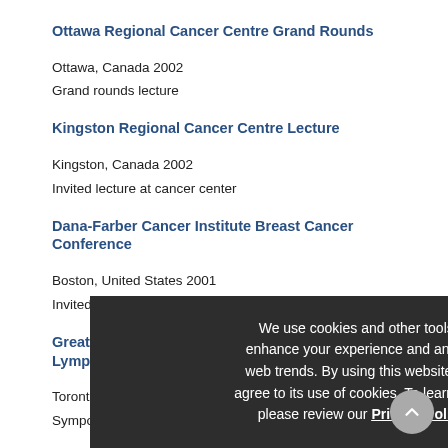Ottawa Regional Cancer Centre Grand Rounds
Ottawa, Canada 2002
Grand rounds lecture
Kingston Regional Cancer Centre Lecture
Kingston, Canada 2002
Invited lecture at cancer center
Dana-Farber Cancer Institute Breast Cancer Conference
Boston, United States 2001
Invited lecture at cancer hospital
Greater Toronto Area Breast Cancer and Lymphoma Update
Toronto, Canada 2001
Symposium
Tom Baker Cancer Centre Grand Rounds
Calgary, Canada 2000
Grand rounds lecture at cancer centre
The Canadian Oncology Leaders Conference